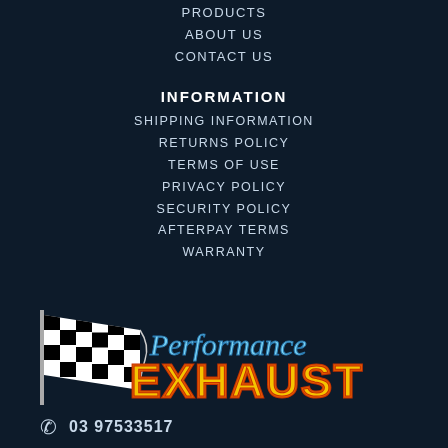PRODUCTS
ABOUT US
CONTACT US
INFORMATION
SHIPPING INFORMATION
RETURNS POLICY
TERMS OF USE
PRIVACY POLICY
SECURITY POLICY
AFTERPAY TERMS
WARRANTY
[Figure (logo): Performance Exhaust logo with checkered flag and stylized text]
03 97533517